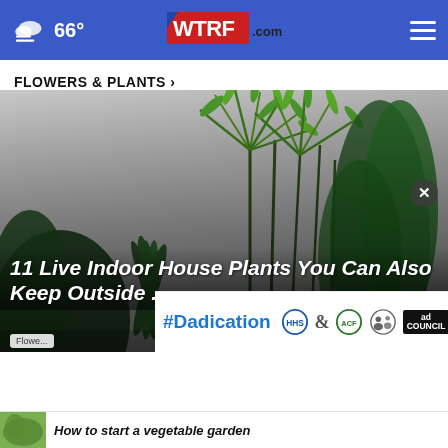66° WTRF.com
FLOWERS & PLANTS ›
[Figure (photo): Indoor house plants including green palm-like plants and aloe on a grey background]
11 Live Indoor House Plants You Can Also Keep Outside ...
Flowers & Plants · 1 month ago
[Figure (other): #Dadication ad banner with HHS, ACF, National Responsible Fatherhood Clearinghouse, and Ad Council logos]
How to start a vegetable garden